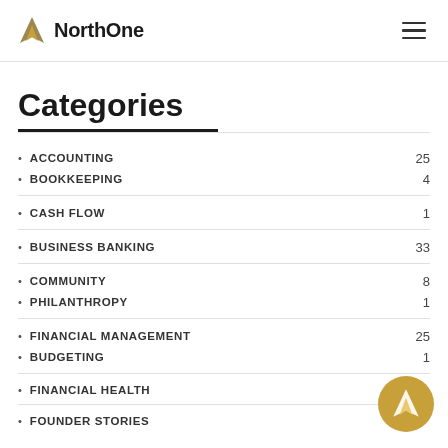NorthOne
Categories
ACCOUNTING  25
BOOKKEEPING  4
CASH FLOW  1
BUSINESS BANKING  33
COMMUNITY  8
PHILANTHROPY  1
FINANCIAL MANAGEMENT  25
BUDGETING  1
FINANCIAL HEALTH
FOUNDER STORIES